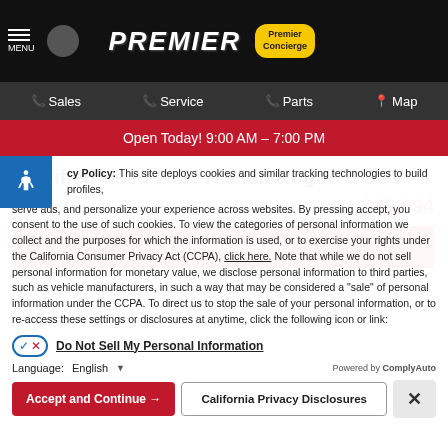PREMIER | Premier Concierge
Sales | Service | Parts | Map
Open Today! 9:00 AM - 7:00 PM
Certified Used 2020 Nissan Rogue S SUV
Price: $25,994
Confirm Availability
Privacy Policy: This site deploys cookies and similar tracking technologies to build profiles, serve ads, and personalize your experience across websites. By pressing accept, you consent to the use of such cookies. To view the categories of personal information we collect and the purposes for which the information is used, or to exercise your rights under the California Consumer Privacy Act (CCPA), click here. Note that while we do not sell personal information for monetary value, we disclose personal information to third parties, such as vehicle manufacturers, in such a way that may be considered a "sale" of personal information under the CCPA. To direct us to stop the sale of your personal information, or to re-access these settings or disclosures at anytime, click the following icon or link:
Do Not Sell My Personal Information
Language: English
Powered by ComplyAuto
Accept and Continue →
California Privacy Disclosures